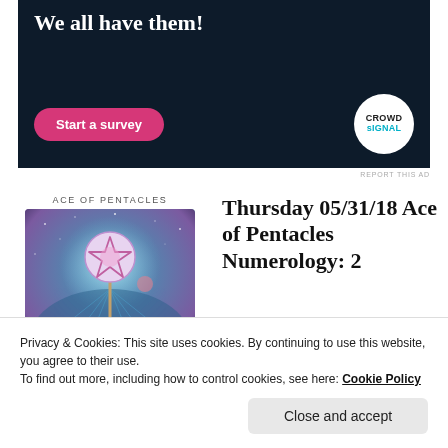[Figure (infographic): Dark navy advertisement banner with bold white text 'We all have them!', a pink rounded 'Start a survey' button, and a Crowd Signal logo circle on the right.]
REPORT THIS AD
ACE OF PENTACLES
[Figure (illustration): Tarot card illustration of the Ace of Pentacles showing a glowing pentacle star on a staff against a cosmic starfield background with fan-like peacock feather forms.]
Thursday 05/31/18 Ace of Pentacles Numerology: 2
Privacy & Cookies: This site uses cookies. By continuing to use this website, you agree to their use.
To find out more, including how to control cookies, see here: Cookie Policy
Close and accept